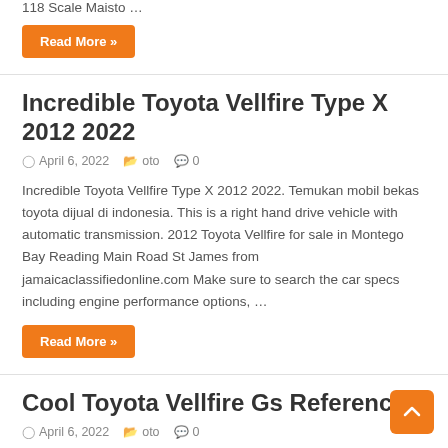118 Scale Maisto …
Read More »
Incredible Toyota Vellfire Type X 2012 2022
April 6, 2022   oto   0
Incredible Toyota Vellfire Type X 2012 2022. Temukan mobil bekas toyota dijual di indonesia. This is a right hand drive vehicle with automatic transmission. 2012 Toyota Vellfire for sale in Montego Bay Reading Main Road St James from jamaicaclassifiedonline.com Make sure to search the car specs including engine performance options, …
Read More »
Cool Toyota Vellfire Gs References
April 6, 2022   oto   0
Cool Toyota Vellfire Gs References. Namun setelah ditelusuri,